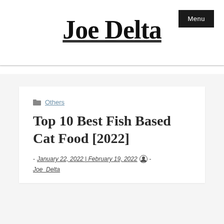Menu
Joe Delta
Others
Top 10 Best Fish Based Cat Food [2022]
- January 22, 2022 | February 19, 2022  - Joe_Delta